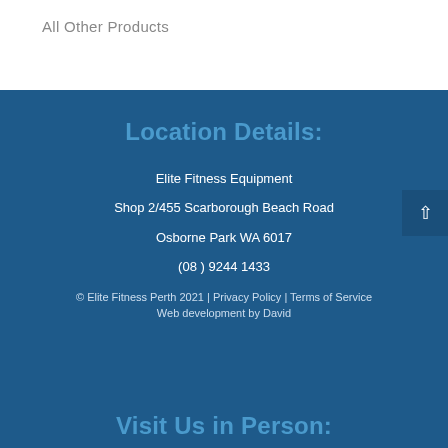All Other Products
Location Details:
Elite Fitness Equipment
Shop 2/455 Scarborough Beach Road
Osborne Park WA 6017
(08 ) 9244 1433
© Elite Fitness Perth 2021 | Privacy Policy | Terms of Service
Web development by David
Visit Us in Person: